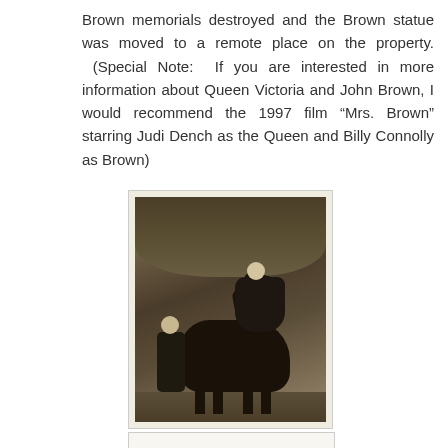Brown memorials destroyed and the Brown statue was moved to a remote place on the property. (Special Note: If you are interested in more information about Queen Victoria and John Brown, I would recommend the 1997 film “Mrs. Brown” starring Judi Dench as the Queen and Billy Connolly as Brown)
[Figure (photo): A sepia-toned historical photograph showing a woman in dark Victorian mourning dress seated side-saddle on a dark horse, with a man in Scottish Highland dress (kilt and jacket) standing beside the horse holding the reins. Trees are visible in the background. Likely a photograph of Queen Victoria and John Brown.]